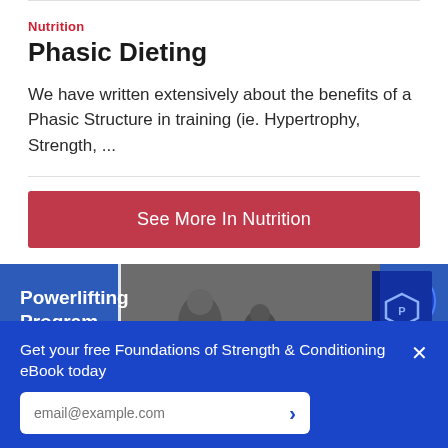Nutrition
Phasic Dieting
We have written extensively about the benefits of a Phasic Structure in training (ie. Hypertrophy, Strength, ...
See More In Nutrition
[Figure (photo): Powerlifting Program promotional banner with gym photo and ebook badge on blue background]
Get your free Foundations of Strength & Conditioning eBook today